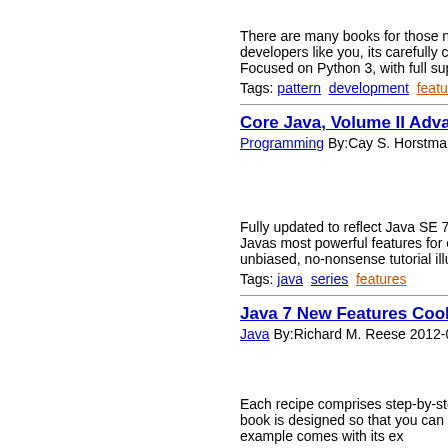Powerful_Python_Th
There are many books for those new to Py... developers like you, its carefully crafted ch... Focused on Python 3, with full suppo
Tags: pattern  development  features  pyth
Core Java, Volume II Advanced Feat
Programming By:Cay S. Horstmann 2013-
[Figure (photo): Core Java book cover thumbnail]
Fully updated to reflect Java SE 7 languac... Javas most powerful features for enterpris... unbiased, no-nonsense tutorial illu
Tags: java  series  features
Java 7 New Features Cookbook
Java By:Richard M. Reese 2012-02-23 00-
Each recipe comprises step-by-step instru... book is designed so that you can read it cl... example comes with its ex
Tags: java  cookbook  features
Core Java 2, Volume II: Advanced Fe